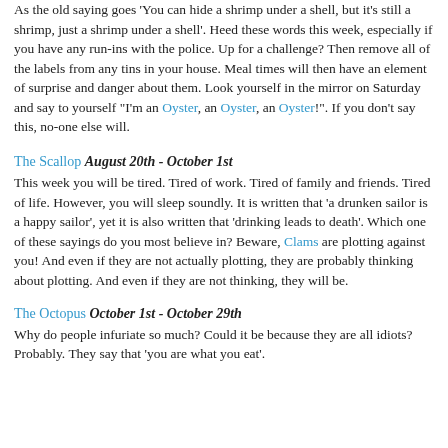As the old saying goes 'You can hide a shrimp under a shell, but it's still a shrimp, just a shrimp under a shell'. Heed these words this week, especially if you have any run-ins with the police. Up for a challenge? Then remove all of the labels from any tins in your house. Meal times will then have an element of surprise and danger about them. Look yourself in the mirror on Saturday and say to yourself "I'm an Oyster, an Oyster, an Oyster!". If you don't say this, no-one else will.
The Scallop August 20th - October 1st
This week you will be tired. Tired of work. Tired of family and friends. Tired of life. However, you will sleep soundly. It is written that 'a drunken sailor is a happy sailor', yet it is also written that 'drinking leads to death'. Which one of these sayings do you most believe in? Beware, Clams are plotting against you! And even if they are not actually plotting, they are probably thinking about plotting. And even if they are not thinking, they will be.
The Octopus October 1st - October 29th
Why do people infuriate so much? Could it be because they are all idiots? Probably. They say that 'you are what you eat'.